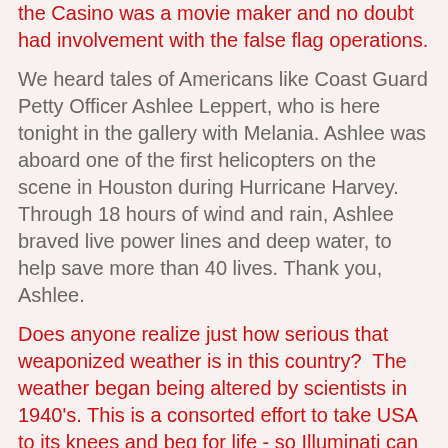the Casino was a movie maker and no doubt had involvement with the false flag operations.
We heard tales of Americans like Coast Guard Petty Officer Ashlee Leppert, who is here tonight in the gallery with Melania. Ashlee was aboard one of the first helicopters on the scene in Houston during Hurricane Harvey. Through 18 hours of wind and rain, Ashlee braved live power lines and deep water, to help save more than 40 lives. Thank you, Ashlee.
Does anyone realize just how serious that weaponized weather is in this country?  The weather began being altered by scientists in 1940's. This is a consorted effort to take USA to its knees and beg for life - so Illuminati can take over.
We heard about Americans like firefighter David